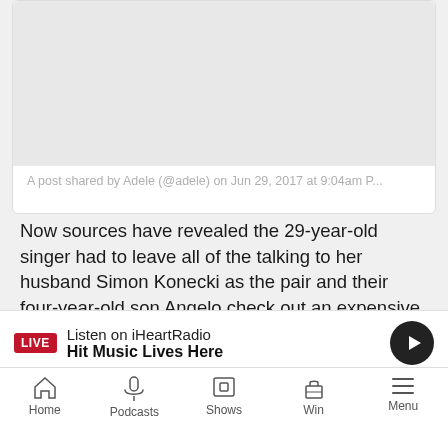A post shared by Adele (@adele) on Jun 29, 2017 at 9:04am P...
Now sources have revealed the 29-year-old singer had to leave all of the talking to her husband Simon Konecki as the pair and their four-year-old son Angelo check out an expensive school in London.
Onlookers told The Sun newspaper: "Adele wasn't making a sound, even if she was asked a direct question by people unaware of her vocal issues she wouldn't be tempted to answer.
"It was almost funny at times because he joked that it was her made-up sign language.
LIVE Listen on iHeartRadio Hit Music Lives Here
Home Podcasts Shows Win Menu